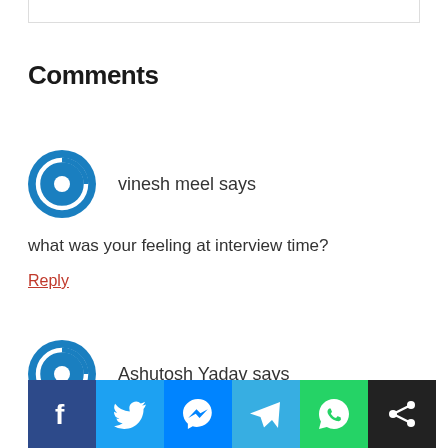Comments
vinesh meel says
what was your feeling at interview time?
Reply
Ashutosh Yadav says
[Figure (other): Social share buttons: Facebook, Twitter, Messenger, Telegram, WhatsApp, Share]